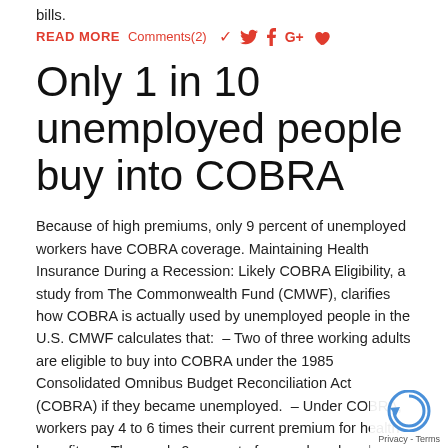bills.
READ MORE   Comments(2)
Only 1 in 10 unemployed people buy into COBRA
Because of high premiums, only 9 percent of unemployed workers have COBRA coverage. Maintaining Health Insurance During a Recession: Likely COBRA Eligibility, a study from The Commonwealth Fund (CMWF), clarifies how COBRA is actually used by unemployed people in the U.S. CMWF calculates that: – Two of three working adults are eligible to buy into COBRA under the 1985 Consolidated Omnibus Budget Reconciliation Act (COBRA) if they became unemployed. – Under COBRA, workers pay 4 to 6 times their current premium for health benefits. – Thus, only 9 percent of unemployed workers have COBRA coverage due to the